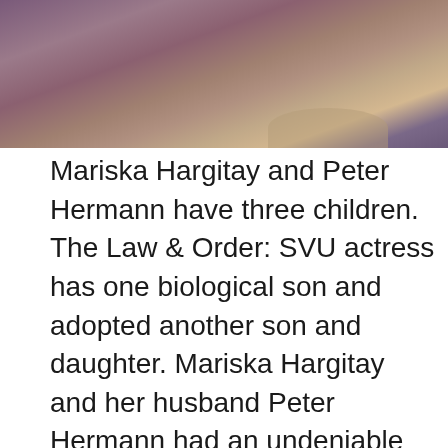[Figure (photo): Aerial or landscape photograph with purple/brown hues showing terrain, possibly a desert or coastal landscape from above]
Mariska Hargitay and Peter Hermann have three children. The Law & Order: SVU actress has one biological son and adopted another son and daughter. Mariska Hargitay and her husband Peter Hermann had an undeniable connection when they first met nearly two decades ago. In the 15 years since the couple got married, they've welcomed three children into their family—and the new additions have only made their bond stronger. Mariska Hargitay's Joyful Heart Foundation and the Power of Vulnerability In a 2015 interview with InStyle , Hargitay revealed that she and Hermann bonded on the set of Law & Order over religion After getting married in 2004, the pair welcomed their first